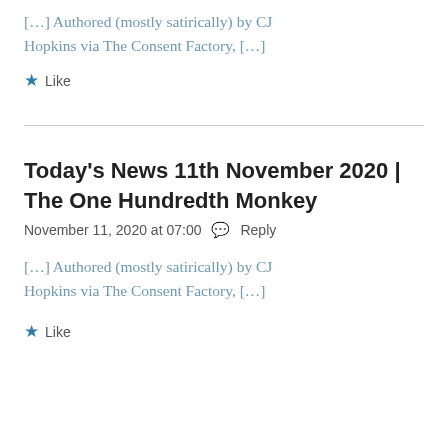[…] Authored (mostly satirically) by CJ Hopkins via The Consent Factory, […]
★ Like
Today's News 11th November 2020 | The One Hundredth Monkey
November 11, 2020 at 07:00   Reply
[…] Authored (mostly satirically) by CJ Hopkins via The Consent Factory, […]
★ Like